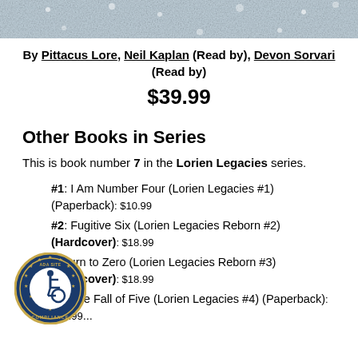[Figure (photo): Top portion of a book cover image, showing a snowy or icy scene]
By Pittacus Lore, Neil Kaplan (Read by), Devon Sorvari (Read by)
$39.99
Other Books in Series
This is book number 7 in the Lorien Legacies series.
#1: I Am Number Four (Lorien Legacies #1) (Paperback): $10.99
#2: Fugitive Six (Lorien Legacies Reborn #2) (Hardcover): $18.99
Return to Zero (Lorien Legacies Reborn #3) (Hardcover): $18.99
#4: The Fall of Five (Lorien Legacies #4) (Paperback): $10.99
[Figure (logo): ADA Site Compliance badge/seal with wheelchair accessibility icon]